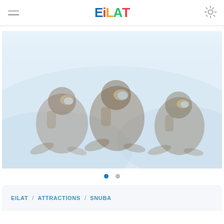EILAT app header with hamburger menu, EILAT logo, and settings gear icon
[Figure (photo): Faded/washed out photo of people snorkeling underwater, wearing masks and snorkeling equipment, with a light blue water background]
[Figure (infographic): Carousel dot indicators: one filled blue dot and one grey dot]
EILAT / ATTRACTIONS / SNUBA